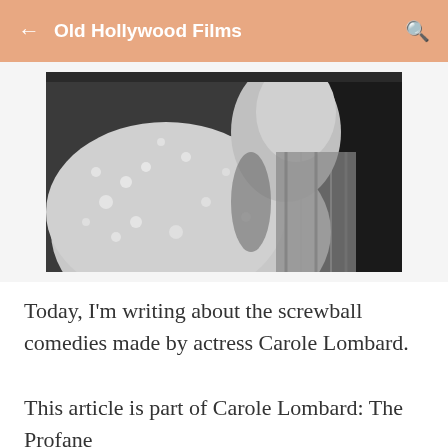Old Hollywood Films
[Figure (photo): Black and white close-up photograph of actress Carole Lombard wearing a floral/star-patterned dress, showing her shoulder and partial face/profile.]
Today, I'm writing about the screwball comedies made by actress Carole Lombard.
This article is part of Carole Lombard: The Profane